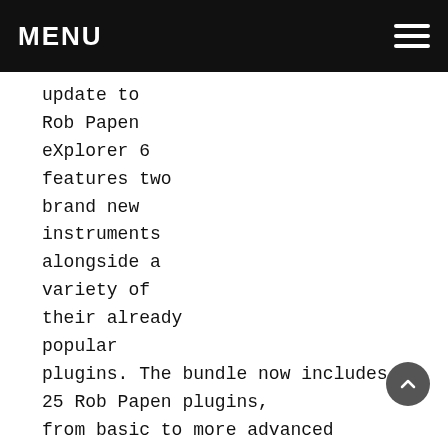MENU
update to Rob Papen eXplorer 6 features two brand new instruments alongside a variety of their already popular plugins. The bundle now includes 25 Rob Papen plugins, from basic to more advanced synthesizers and effects processors.

First up in the new additions to the bundle is XY Transfer – a unique multi-effects processor based around Rob Papen's very popular X/Y modulation system, with huge sonic